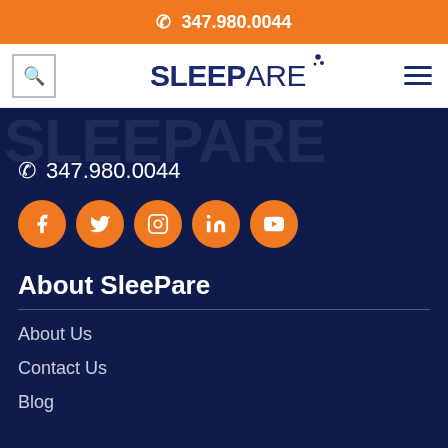📞 347.980.0044
[Figure (logo): SleePare logo with navy SLEEP bold and lighter ARE text, with decorative dots, flanked by a search icon box and hamburger menu]
347.980.0044
[Figure (infographic): Five orange circular social media icons: Facebook, Twitter, Instagram, LinkedIn, YouTube]
About SleePare
About Us
Contact Us
Blog